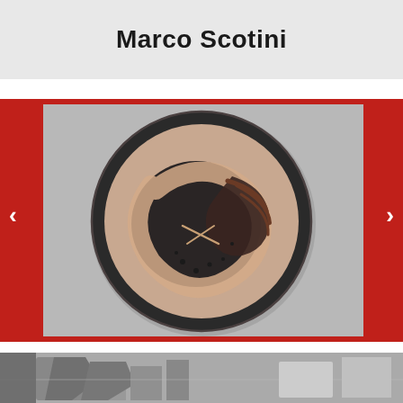Marco Scotini
[Figure (photo): Top-down view of a decorated ceramic plate/dish with dark glaze and painted abstract figure design (bird-like form), photographed on a light grey background, displayed as a slideshow image with left and right navigation arrows on a red band background.]
[Figure (photo): Bottom partial image showing a black and white photograph of sculptural or installation artworks in what appears to be a gallery or exhibition space.]